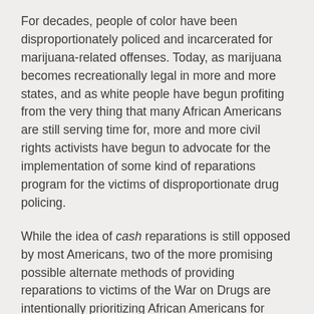For decades, people of color have been disproportionately policed and incarcerated for marijuana-related offenses. Today, as marijuana becomes recreationally legal in more and more states, and as white people have begun profiting from the very thing that many African Americans are still serving time for, more and more civil rights activists have begun to advocate for the implementation of some kind of reparations program for the victims of disproportionate drug policing.
While the idea of cash reparations is still opposed by most Americans, two of the more promising possible alternate methods of providing reparations to victims of the War on Drugs are intentionally prioritizing African Americans for legal marijuana dispensary licenses and earmarking a portion of taxes on the sale of legalized recreational marijuana into a fund specifically for reparations. Given the success of the reparatory equity programs in both Oakland, California, and Evanston...